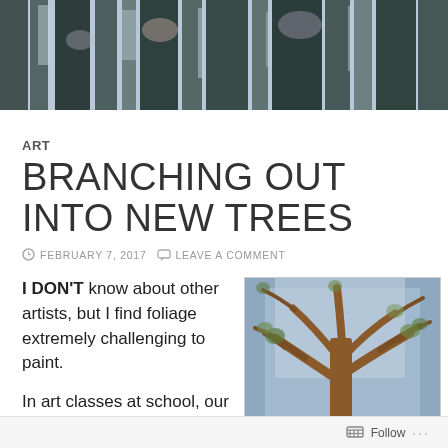[Figure (photo): Header image showing abstract painted trees with blue, green, and dark tones — looks like a painting of tall trees/cypress in muted colors]
ART
BRANCHING OUT INTO NEW TREES
FEBRUARY 7, 2017   LEAVE A COMMENT
I DON'T know about other artists, but I find foliage extremely challenging to paint.
In art classes at school, our teacher explained the effect of aerial perspective, which
[Figure (photo): Painting of bare trees with brown/copper branches against a blue-grey sky, foliage painting example]
Follow